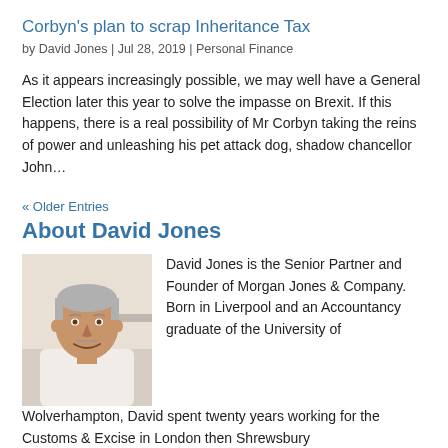Corbyn's plan to scrap Inheritance Tax
by David Jones | Jul 28, 2019 | Personal Finance
As it appears increasingly possible, we may well have a General Election later this year to solve the impasse on Brexit. If this happens, there is a real possibility of Mr Corbyn taking the reins of power and unleashing his pet attack dog, shadow chancellor John…
« Older Entries
About David Jones
[Figure (photo): Headshot photo of David Jones, a middle-aged man with grey hair and a light shirt, smiling at the camera.]
David Jones is the Senior Partner and Founder of Morgan Jones & Company. Born in Liverpool and an Accountancy graduate of the University of Wolverhampton, David spent twenty years working for the Customs & Excise in London then Shrewsbury